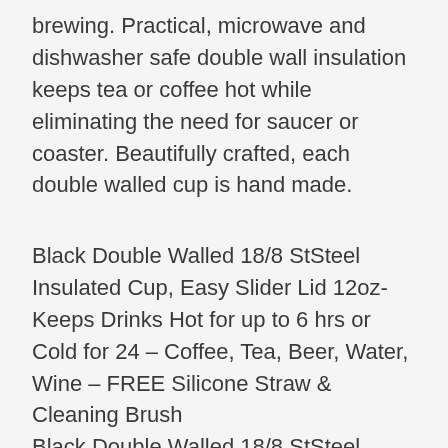brewing. Practical, microwave and dishwasher safe double wall insulation keeps tea or coffee hot while eliminating the need for saucer or coaster. Beautifully crafted, each double walled cup is hand made.
Black Double Walled 18/8 StSteel Insulated Cup, Easy Slider Lid 12oz- Keeps Drinks Hot for up to 6 hrs or Cold for 24 – Coffee, Tea, Beer, Water, Wine – FREE Silicone Straw & Cleaning Brush
Black Double Walled 18/8 StSteel Insulated Cup, Easy Slider Lid 12oz- Keeps Drinks Hot for up to 6 hrs or Cold for 24 – Coffee, Tea, Beer, Water, Wine – FREE